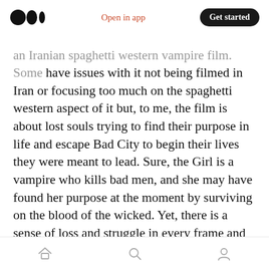Medium logo | Open in app | Get started
an Iranian spaghetti western vampire film. Some have issues with it not being filmed in Iran or focusing too much on the spaghetti western aspect of it but, to me, the film is about lost souls trying to find their purpose in life and escape Bad City to begin their lives they were meant to lead. Sure, the Girl is a vampire who kills bad men, and she may have found her purpose at the moment by surviving on the blood of the wicked. Yet, there is a sense of loss and struggle in every frame and every moment. Bad City seems like a bad place, and the Farsi language creates a barrier that makes it feel distant from viewers
Home | Search | Profile